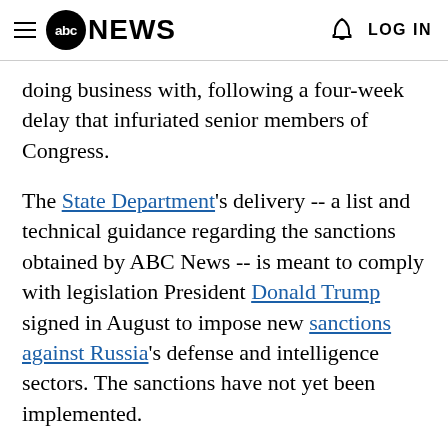≡ abc NEWS   🔔 LOG IN
doing business with, following a four-week delay that infuriated senior members of Congress.
The State Department's delivery -- a list and technical guidance regarding the sanctions obtained by ABC News -- is meant to comply with legislation President Donald Trump signed in August to impose new sanctions against Russia's defense and intelligence sectors. The sanctions have not yet been implemented.
After Secretary of State Rex Tillerson signed off on the guidance Thursday morning